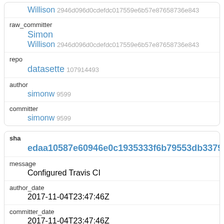Willison 2946d096d0cdefdc017559e6b57e87658736e843
raw_committer
Simon
Willison 2946d096d0cdefdc017559e6b57e87658736e843
repo
datasette 107914493
author
simonw 9599
committer
simonw 9599
sha
edaa10587e60946e0c1935333f6b79553db33798
message
Configured Travis CI
author_date
2017-11-04T23:47:46Z
committer_date
2017-11-04T23:47:46Z
raw_author